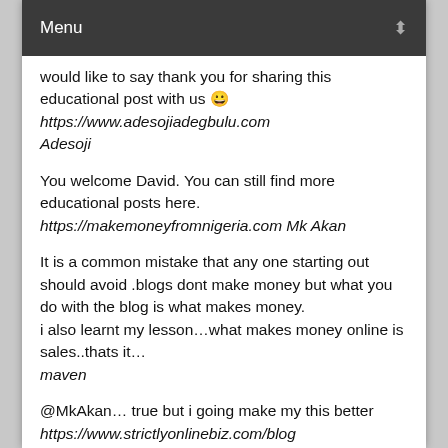Menu
would like to say thank you for sharing this educational post with us 😀 https://www.adesojiadegbulu.com Adesoji
You welcome David. You can still find more educational posts here. https://makemoneyfromnigeria.com Mk Akan
It is a common mistake that any one starting out should avoid .blogs dont make money but what you do with the blog is what makes money.
i also learnt my lesson…what makes money online is sales..thats it… maven
@MkAkan… true but i going make my this better https://www.strictlyonlinebiz.com/blog Udegbunam Chukwudi
I made the mistake of blogging about making money online too and realized my mistake late and that's why I've widened the theme of my blog and I